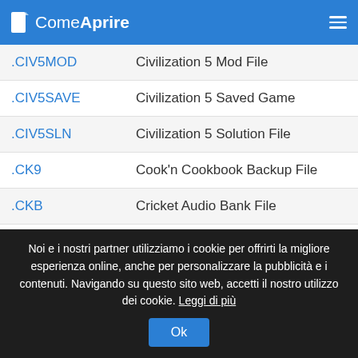ComeAprire
| Extension | Description |
| --- | --- |
| .CIV5MOD | Civilization 5 Mod File |
| .CIV5SAVE | Civilization 5 Saved Game |
| .CIV5SLN | Civilization 5 Solution File |
| .CK9 | Cook'n Cookbook Backup File |
| .CKB | Cricket Audio Bank File |
| .CKBX | Cricket Audio XML Bank Description File |
| .CKD | Kubotek Design Container |
| .CKE | Casio Keyboard File |
Noi e i nostri partner utilizziamo i cookie per offrirti la migliore esperienza online, anche per personalizzare la pubblicità e i contenuti. Navigando su questo sito web, accetti il nostro utilizzo dei cookie. Leggi di più Ok